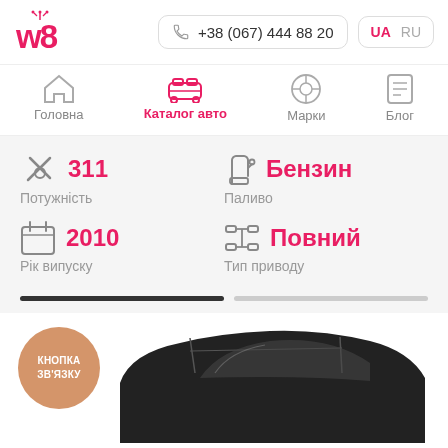w8 logo, +38 (067) 444 88 20, UA RU
Головна | Каталог авто | Марки | Блог
Потужність: 311, Паливо: Бензин, Рік випуску: 2010, Тип приводу: Повний
[Figure (screenshot): Car roof visible at bottom of page with contact button overlay]
КНОПКА ЗВ'ЯЗКУ